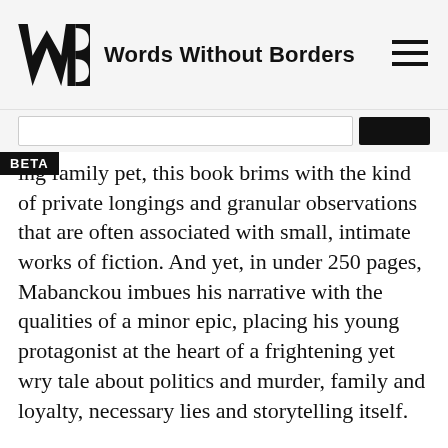Words Without Borders
ing family pet, this book brims with the kind of private longings and granular observations that are often associated with small, intimate works of fiction. And yet, in under 250 pages, Mabanckou imbues his narrative with the qualities of a minor epic, placing his young protagonist at the heart of a frightening yet wry tale about politics and murder, family and loyalty, necessary lies and storytelling itself.
Michel, our narrator, is an observant only child of thirteen or fourteen. He lives in Pointe-Noire, in the Republic of the Congo. As The Death of Comrade President opens, it's March 19, 1977, and